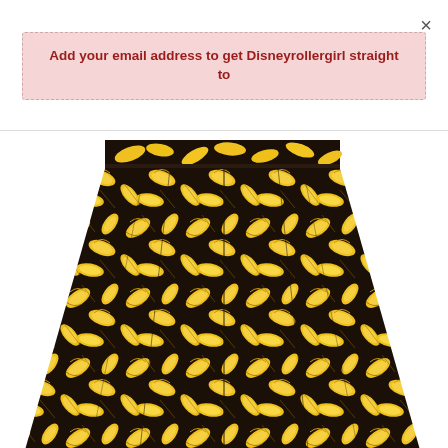×
Add your email address to get Disneyrollergirl straight to
[Figure (photo): A pleated skirt with a black background covered in yellow banana print, shown from waist to below knee, A-line silhouette with visible pleats.]